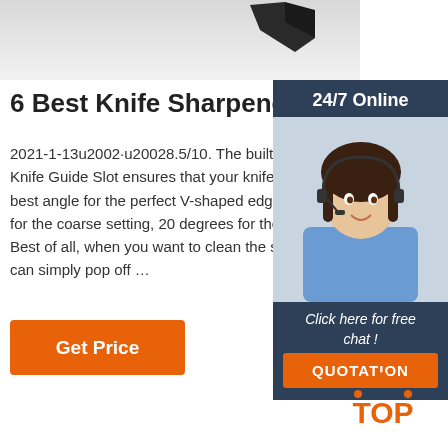[Figure (photo): Partial image of a knife tip on a light gray background, top portion of page]
6 Best Knife Sharpeners (20...
2021-1-13u2002·u20028.5/10. The built-in U Knife Guide Slot ensures that your knife is ke best angle for the perfect V-shaped edge—1 for the coarse setting, 20 degrees for the fine Best of all, when you want to clean the sharp can simply pop off …
[Figure (photo): Side panel advertisement with dark navy background. Shows '24/7 Online' header, photo of smiling woman with headset, text 'Click here for free chat!' and orange QUOTATION button.]
Get Price
[Figure (logo): Orange TOP logo with dotted arc above the word TOP in orange letters]